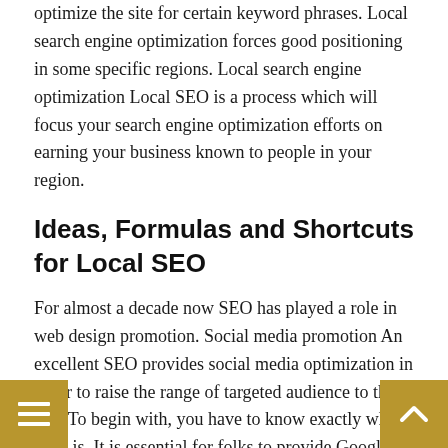optimize the site for certain keyword phrases. Local search engine optimization forces good positioning in some specific regions. Local search engine optimization Local SEO is a process which will focus your search engine optimization efforts on earning your business known to people in your region.
Ideas, Formulas and Shortcuts for Local SEO
For almost a decade now SEO has played a role in web design promotion. Social media promotion An excellent SEO provides social media optimization in order to raise the range of targeted audience to the site. To begin with, you have to know exactly what SEO is. It is essential for folks to provide Google maps SEO because it allows them to use the application to be able to get to the shop or the office in an effortless way. Logically your hired SEO would provide you all changes that should be implemented and he shall also incorporate its positive effects too. Local